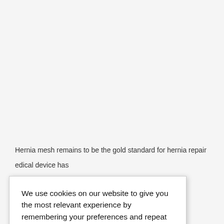Hernia mesh remains to be the gold standard for hernia repair … medical device has … ururrence and other … any patients who … s following hernia … result in hernia … ead to other life-altering complications.
We use cookies on our website to give you the most relevant experience by remembering your preferences and repeat visits. By clicking “Accept”, you consent to the use of ALL the cookies.